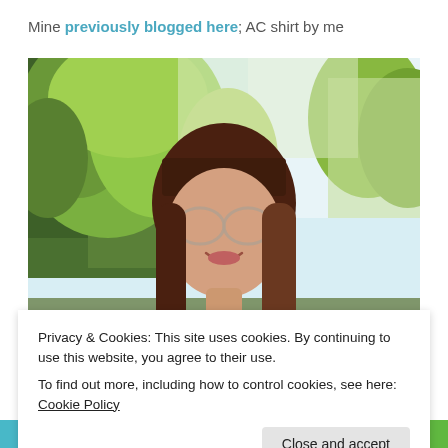Mine previously blogged here; AC shirt by me
[Figure (photo): Outdoor photo of a woman with long brown hair and glasses, smiling, with green trees in the background]
Privacy & Cookies: This site uses cookies. By continuing to use this website, you agree to their use.
To find out more, including how to control cookies, see here: Cookie Policy
Close and accept